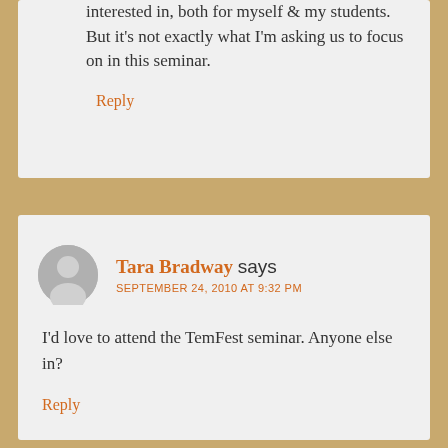interested in, both for myself & my students. But it's not exactly what I'm asking us to focus on in this seminar.
Reply
Tara Bradway says
SEPTEMBER 24, 2010 AT 9:32 PM
I'd love to attend the TemFest seminar. Anyone else in?
Reply